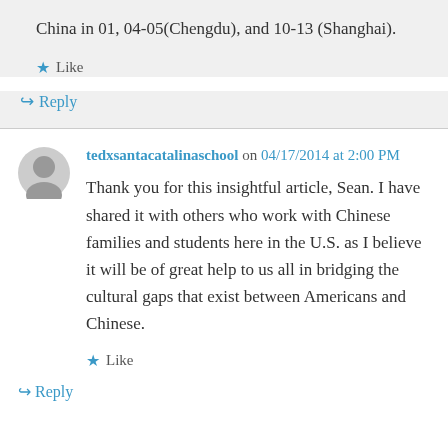China in 01, 04-05(Chengdu), and 10-13 (Shanghai).
★ Like
↪ Reply
tedxsantacatalinaschool on 04/17/2014 at 2:00 PM
Thank you for this insightful article, Sean. I have shared it with others who work with Chinese families and students here in the U.S. as I believe it will be of great help to us all in bridging the cultural gaps that exist between Americans and Chinese.
★ Like
↪ Reply